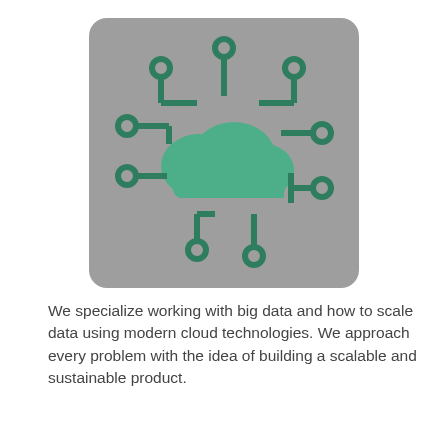[Figure (illustration): A grey rounded-rectangle box containing a green cloud icon in the center, surrounded by circuit-board-style connector nodes (circles with L-shaped lines) in dark green, representing cloud networking or big data connectivity.]
We specialize working with big data and how to scale data using modern cloud technologies. We approach every problem with the idea of building a scalable and sustainable product.